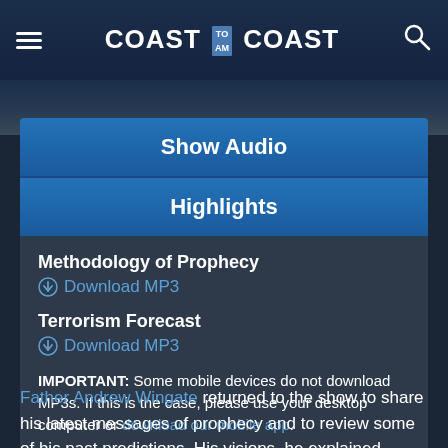COAST TO AM COAST
Show Audio
Highlights
Methodology of Prophecy
Download MP3
Terrorism Forecast
Download MP3
IMPORTANT: Some mobile devices do not download MP3s. If this is the case, please use your desktop computer or download our mobile app.
Father Andrew Wingate returned to the show to share his latest messages of prophecy and to review some of his past predictions. His visions, he explained, often come to